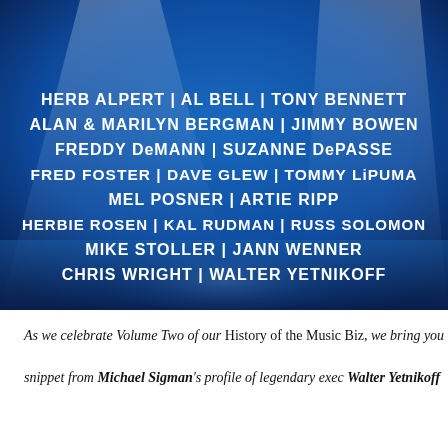[Figure (illustration): Blue spotlight stage background with white bold names listed: HERB ALPERT | AL BELL | TONY BENNETT, ALAN & MARILYN BERGMAN | JIMMY BOWEN, FREDDY DeMANN | SUZANNE DePASSE, FRED FOSTER | DAVE GLEW | TOMMY LiPUMA, MEL POSNER | ARTIE RIPP, HERBIE ROSEN | KAL RUDMAN | RUSS SOLOMON, MIKE STOLLER | JANN WENNER, CHRIS WRIGHT | WALTER YETNIKOFF]
As we celebrate Volume Two of our History of the Music Biz, we bring you snippet from Michael Sigman's profile of legendary exec Walter Yetnikoff